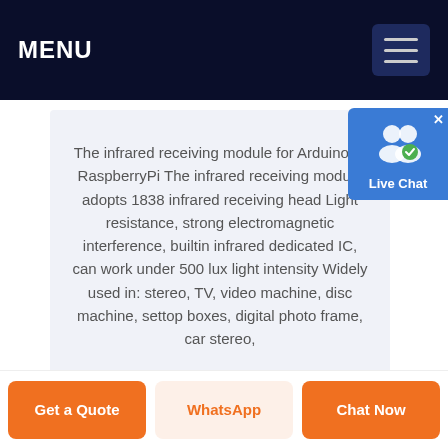MENU
The infrared receiving module for Arduino or RaspberryPi The infrared receiving module adopts 1838 infrared receiving head Light resistance, strong electromagnetic interference, builtin infrared dedicated IC, can work under 500 lux light intensity Widely used in: stereo, TV, video machine, disc machine, settop boxes, digital photo frame, car stereo,
Get a Quote
WhatsApp
Chat Now